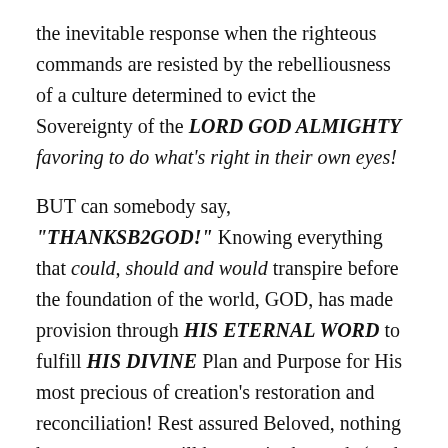the inevitable response when the righteous commands are resisted by the rebelliousness of a culture determined to evict the Sovereignty of the LORD GOD ALMIGHTY favoring to do what's right in their own eyes!
BUT can somebody say, "THANKSB2GOD!" Knowing everything that could, should and would transpire before the foundation of the world, GOD, has made provision through HIS ETERNAL WORD to fulfill HIS DIVINE Plan and Purpose for His most precious of creation's restoration and reconciliation! Rest assured Beloved, nothing has, can or ever will happen in the earth (and your life) that takes God by surprise! When it seems as if everything is fallen to the dogs and hell